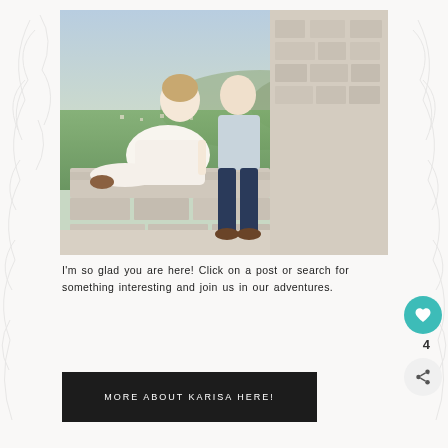[Figure (photo): A couple sitting on a stone wall with a scenic green valley and mountains in the background. The woman is wearing a white dress and the man is wearing a light blue shirt and dark jeans.]
I'm so glad you are here! Click on a post or search for something interesting and join us in our adventures.
MORE ABOUT KARISA HERE!